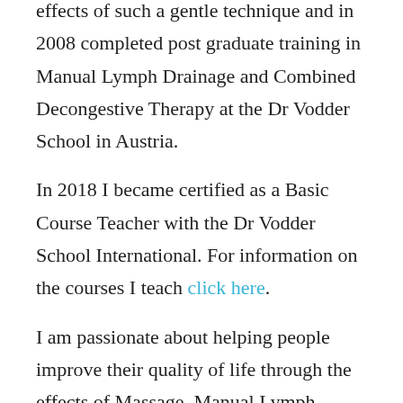effects of such a gentle technique and in 2008 completed post graduate training in Manual Lymph Drainage and Combined Decongestive Therapy at the Dr Vodder School in Austria.
In 2018 I became certified as a Basic Course Teacher with the Dr Vodder School International. For information on the courses I teach click here.
I am passionate about helping people improve their quality of life through the effects of Massage, Manual Lymph Drainage or